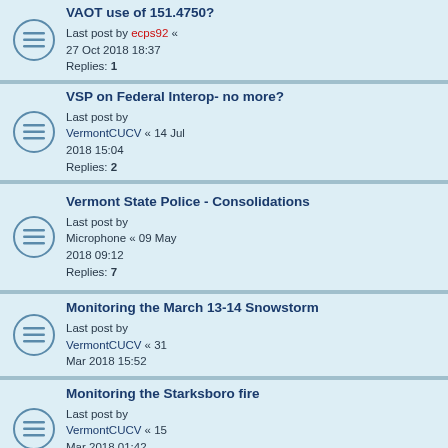VAOT use of 151.4750? — Last post by ecps92 « 27 Oct 2018 18:37 — Replies: 1
VSP on Federal Interop- no more? — Last post by VermontCUCV « 14 Jul 2018 15:04 — Replies: 2
Vermont State Police - Consolidations — Last post by Microphone « 09 May 2018 09:12 — Replies: 7
Monitoring the March 13-14 Snowstorm — Last post by VermontCUCV « 31 Mar 2018 15:52
Monitoring the Starksboro fire — Last post by VermontCUCV « 15 Mar 2018 01:42 — Replies: 2